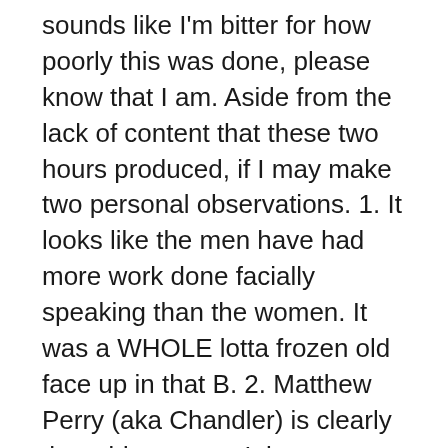sounds like I'm bitter for how poorly this was done, please know that I am. Aside from the lack of content that these two hours produced, if I may make two personal observations. 1. It looks like the men have had more work done facially speaking than the women. It was a WHOLE lotta frozen old face up in that B. 2. Matthew Perry (aka Chandler) is clearly the odd man out. It became very obvious through group interactions that none of them have chosen to hang out with him personally in the past 15 years and also no one really cares to